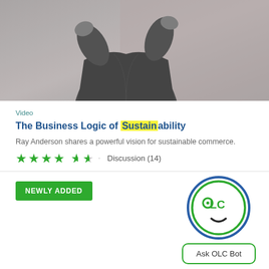[Figure (photo): Grayscale photo of a person in a suit gesturing with their hands against a warm-toned background]
Video
The Business Logic of Sustainability
Ray Anderson shares a powerful vision for sustainable commerce.
★★★★★  Discussion (14)
[Figure (logo): OLC Bot logo — circular face icon with 'OLC' text inside and a smile, with 'Ask OLC Bot' button below]
NEWLY ADDED
Ask OLC Bot